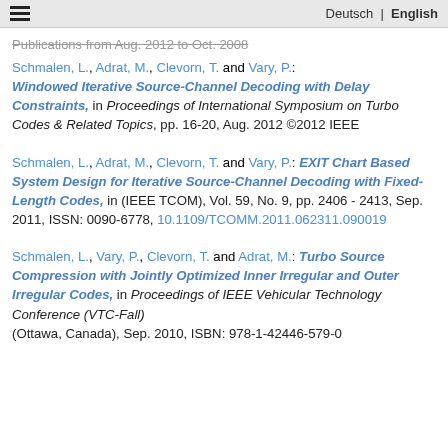≡   Deutsch | English
Publications from Aug. 2012 to Oct. 2008
Schmalen, L., Adrat, M., Clevorn, T. and Vary, P.: Windowed Iterative Source-Channel Decoding with Delay Constraints, in Proceedings of International Symposium on Turbo Codes & Related Topics, pp. 16-20, Aug. 2012 ©2012 IEEE
Schmalen, L., Adrat, M., Clevorn, T. and Vary, P.: EXIT Chart Based System Design for Iterative Source-Channel Decoding with Fixed-Length Codes, in (IEEE TCOM), Vol. 59, No. 9, pp. 2406 - 2413, Sep. 2011, ISSN: 0090-6778, 10.1109/TCOMM.2011.062311.090019
Schmalen, L., Vary, P., Clevorn, T. and Adrat, M.: Turbo Source Compression with Jointly Optimized Inner Irregular and Outer Irregular Codes, in Proceedings of IEEE Vehicular Technology Conference (VTC-Fall) (Ottawa, Canada), Sep. 2010, ISBN: 978-1-42446-579-0